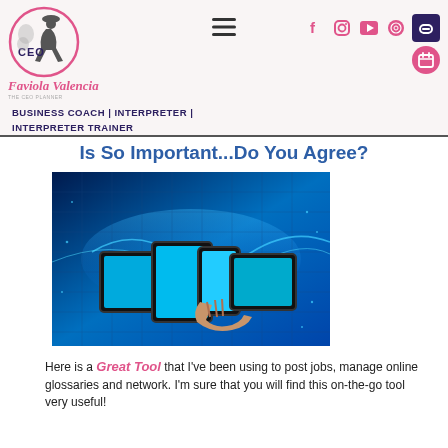[Figure (logo): CEO Faviola Valencia logo with circular badge showing a silhouette figure, name in pink italic script, and tagline 'The CEO Planner']
BUSINESS COACH | INTERPRETER | INTERPRETER TRAINER
Is So Important...Do You Agree?
[Figure (photo): Technology devices photo: tablet, smartphone, and another tablet held in a hand against a glowing blue digital network background]
Here is a Great Tool that I've been using to post jobs, manage online glossaries and network.  I'm sure that you will find this on-the-go tool very useful!